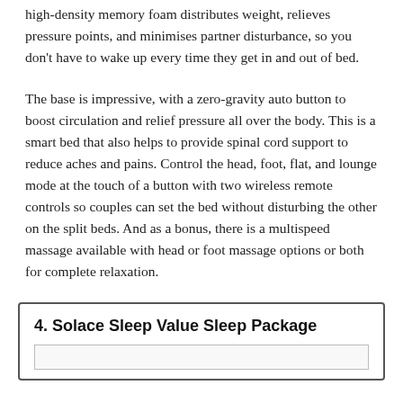high-density memory foam distributes weight, relieves pressure points, and minimises partner disturbance, so you don't have to wake up every time they get in and out of bed.
The base is impressive, with a zero-gravity auto button to boost circulation and relief pressure all over the body. This is a smart bed that also helps to provide spinal cord support to reduce aches and pains. Control the head, foot, flat, and lounge mode at the touch of a button with two wireless remote controls so couples can set the bed without disturbing the other on the split beds. And as a bonus, there is a multispeed massage available with head or foot massage options or both for complete relaxation.
4. Solace Sleep Value Sleep Package